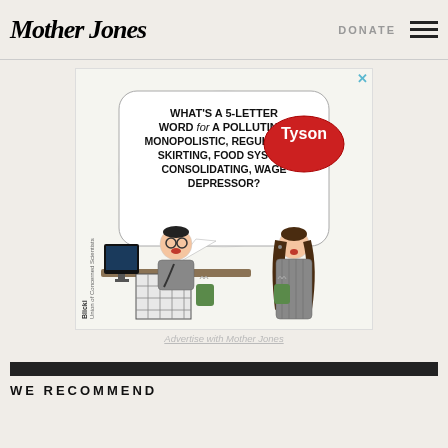Mother Jones | DONATE
[Figure (illustration): Advertisement cartoon from Union of Concerned Scientists. A man doing a crossword puzzle asks 'What's a 5-letter word for a polluting, monopolistic, regulation-skirting, food system consolidating, wage depressor?' with a Tyson logo speech bubble shown to a woman holding a coffee cup.]
Advertise with Mother Jones
WE RECOMMEND